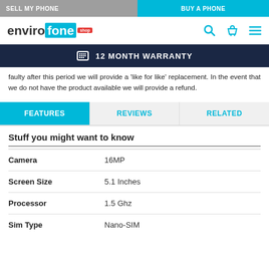SELL MY PHONE | BUY A PHONE
[Figure (logo): Envirofone Shop logo with search, basket, and menu icons]
12 MONTH WARRANTY
faulty after this period we will provide a 'like for like' replacement. In the event that we do not have the product available we will provide a refund.
FEATURES | REVIEWS | RELATED
Stuff you might want to know
| Feature | Value |
| --- | --- |
| Camera | 16MP |
| Screen Size | 5.1 Inches |
| Processor | 1.5 Ghz |
| Sim Type | Nano-SIM |